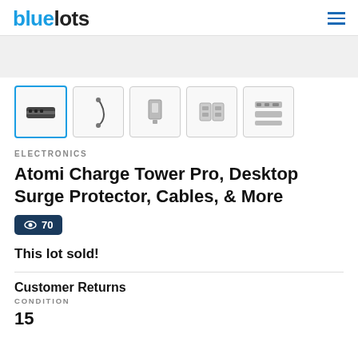bluelots
[Figure (screenshot): Five product thumbnail images: surge protector/tower, cable, charging station, multi-port device, and accessory diagram. First thumbnail is selected with blue border.]
ELECTRONICS
Atomi Charge Tower Pro, Desktop Surge Protector, Cables, & More
70 views
This lot sold!
Customer Returns
CONDITION
15